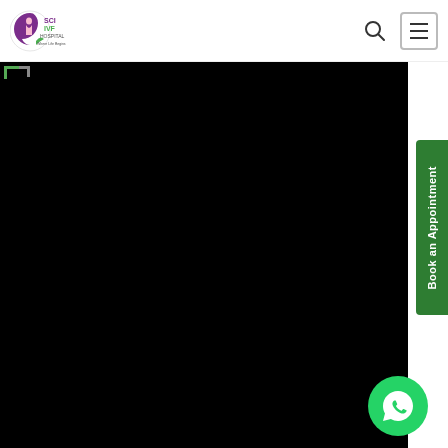[Figure (logo): SCI IVF Hospital logo with crescent moon and female figure icon, purple and green colors, text reads SCI IVF HOSPITAL Where Life Begins]
[Figure (screenshot): Website navigation bar for SCI IVF Hospital with search icon and hamburger menu button on the right]
[Figure (photo): Large black/dark video or image content area occupying the main body of the page]
[Figure (other): Green vertical 'Book an Appointment' button on the right edge of the page]
[Figure (other): Green WhatsApp circular chat button in the bottom right corner]